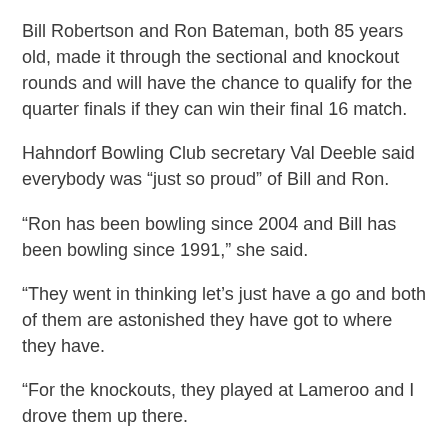Bill Robertson and Ron Bateman, both 85 years old, made it through the sectional and knockout rounds and will have the chance to qualify for the quarter finals if they can win their final 16 match.
Hahndorf Bowling Club secretary Val Deeble said everybody was “just so proud” of Bill and Ron.
“Ron has been bowling since 2004 and Bill has been bowling since 1991,” she said.
“They went in thinking let’s just have a go and both of them are astonished they have got to where they have.
“For the knockouts, they played at Lameroo and I drove them up there.
“The week before, my husband and his partner for the event drove them to the sectionals.”
Val said Ron and Bill put together a skillful display to